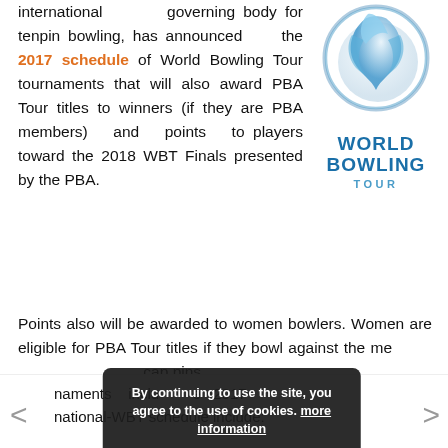international governing body for tenpin bowling, has announced the 2017 schedule of World Bowling Tour tournaments that will also award PBA Tour titles to winners (if they are PBA members) and points to players toward the 2018 WBT Finals presented by the PBA.
[Figure (logo): World Bowling Tour logo — blue stylized bowling pin/ball figure in a circle above the text WORLD BOWLING TOUR in blue]
Points also will be awarded to women bowlers. Women are eligible for PBA Tour titles if they bowl against the men and don't accept handicap pins.
By continuing to use the site, you agree to the use of cookies. more information
Accept
naments include 2017 national-WBT schedule include: